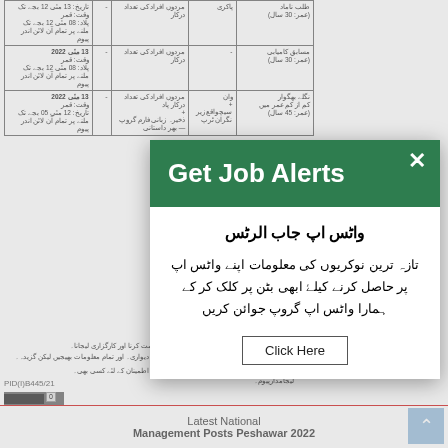| طلب نامد | پاکری | مردوں افراد کی تعداد درکار | - | تاریخ |
| --- | --- | --- | --- | --- |
| طلب ناماد (عمر: 30 سال) | پاکری | مردوں افراد کی تعداد درکار | - | تاریخ: 13 مئی 12 بجے تک |
| مسابق کامیابی (عمر: 30 سال) | - | مردوں افراد کی تعداد درکار | - | 13 مئی 2022 |
| نگلے بھگوار (کم از کم عمر) (عمر: 45 سال) | وان + | مردوں افراد کی تعداد درکار پاد + | - | 13 مئی 2022 |
شرائط شمولیت:
1. قانوندماتھے کے ذریعہ کی ملازمت کی میعاد کی درخواست کرنا۔
2. تعلیم اور عملی تجربہ کی CV اور تمام تقاضا دستاویز اور تمام معلومات بھیجیں۔
[Figure (screenshot): Modal popup overlay with green header 'Get Job Alerts' and Urdu text about WhatsApp job alerts, with a 'Click Here' button]
Latest National Management Posts Peshawar 2022